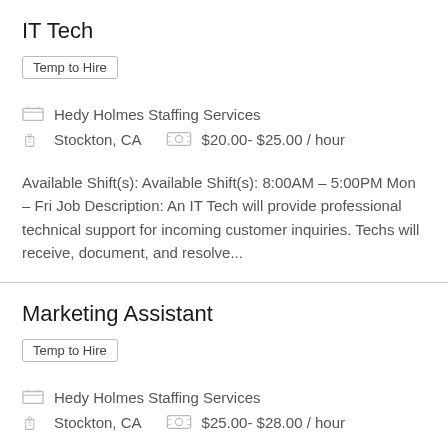IT Tech
Temp to Hire
Hedy Holmes Staffing Services
Stockton, CA   $20.00- $25.00 / hour
Available Shift(s): Available Shift(s): 8:00AM – 5:00PM Mon – Fri Job Description: An IT Tech will provide professional technical support for incoming customer inquiries. Techs will receive, document, and resolve...
Marketing Assistant
Temp to Hire
Hedy Holmes Staffing Services
Stockton, CA   $25.00- $28.00 / hour
Available Shift(s): 8:00AM – 5:00PM Mon – Fri